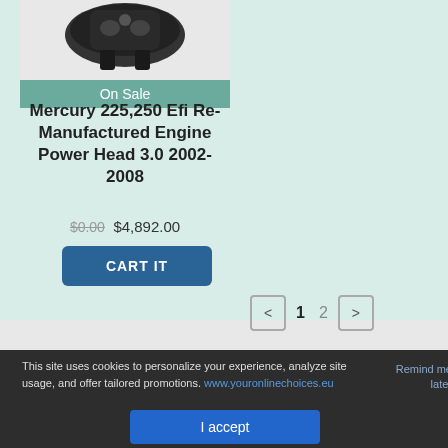[Figure (photo): Mercury engine power head - a black mechanical engine component on a light background]
On Sale
Mercury 225,250 Efi Re-Manufactured Engine Power Head 3.0 2002-2008
$0.00  $4,892.00
CART IT
< 1 2 >
This site uses cookies to personalize your experience, analyze site usage, and offer tailored promotions. www.youronlinechoices.eu
Remind me later
I accept